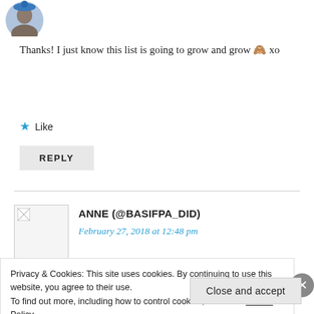[Figure (photo): Partial circular avatar photo of a person, partially cut off at top of page]
Thanks! I just know this list is going to grow and grow 🙈 xo
★ Like
REPLY
[Figure (photo): Broken image placeholder for user avatar of ANNE (@BASIFPA_DID)]
ANNE (@BASIFPA_DID)
February 27, 2018 at 12:48 pm
Privacy & Cookies: This site uses cookies. By continuing to use this website, you agree to their use.
To find out more, including how to control cookies, see here: Cookie Policy
Close and accept